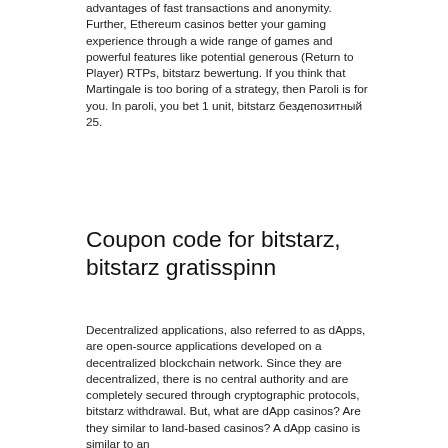advantages of fast transactions and anonymity. Further, Ethereum casinos better your gaming experience through a wide range of games and powerful features like potential generous (Return to Player) RTPs, bitstarz bewertung. If you think that Martingale is too boring of a strategy, then Paroli is for you. In paroli, you bet 1 unit, bitstarz бездепозитный 25.
Coupon code for bitstarz, bitstarz gratisspinn
Decentralized applications, also referred to as dApps, are open-source applications developed on a decentralized blockchain network. Since they are decentralized, there is no central authority and are completely secured through cryptographic protocols, bitstarz withdrawal. But, what are dApp casinos? Are they similar to land-based casinos? A dApp casino is similar to an